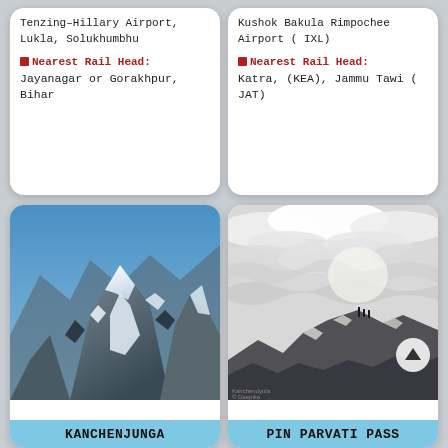Tenzing–Hillary Airport, Lukla, Solukhumbhu
🔴 Nearest Rail Head: Jayanagar or Gorakhpur, Bihar
Kushok Bakula Rimpochee Airport ( IXL)
🔴 Nearest Rail Head: Katra, (KEA), Jammu Tawi ( JAT)
[Figure (photo): Snow-covered rocky mountain peaks with glaciers, blue sky, Kanchenjunga region]
KANCHENJUNGA
[Figure (photo): Black and white mountain landscape with dramatic cloudy sky and snowy peaks, Pin Parvati Pass]
PIN PARVATI PASS